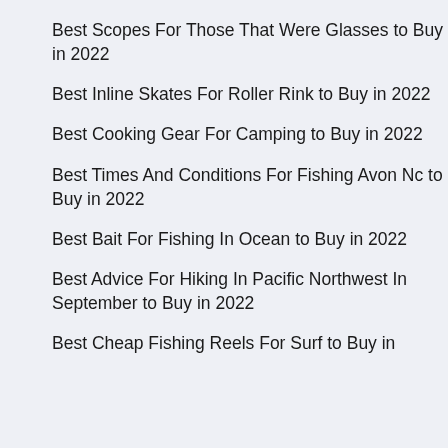Best Scopes For Those That Were Glasses to Buy in 2022
Best Inline Skates For Roller Rink to Buy in 2022
Best Cooking Gear For Camping to Buy in 2022
Best Times And Conditions For Fishing Avon Nc to Buy in 2022
Best Bait For Fishing In Ocean to Buy in 2022
Best Advice For Hiking In Pacific Northwest In September to Buy in 2022
Best Cheap Fishing Reels For Surf to Buy in